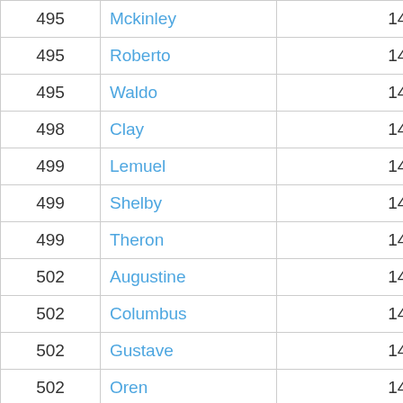| 495 | Mckinley | 148 |
| 495 | Roberto | 148 |
| 495 | Waldo | 148 |
| 498 | Clay | 147 |
| 499 | Lemuel | 146 |
| 499 | Shelby | 146 |
| 499 | Theron | 146 |
| 502 | Augustine | 144 |
| 502 | Columbus | 144 |
| 502 | Gustave | 144 |
| 502 | Oren | 144 |